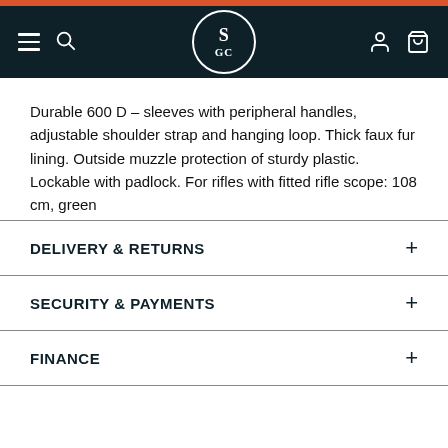[Figure (screenshot): Website navigation header with dark background featuring hamburger menu, search icon, SGC circular logo, user icon, and shopping bag icon]
Durable 600 D – sleeves with peripheral handles, adjustable shoulder strap and hanging loop. Thick faux fur lining. Outside muzzle protection of sturdy plastic. Lockable with padlock. For rifles with fitted rifle scope: 108 cm, green
DELIVERY & RETURNS
SECURITY & PAYMENTS
FINANCE